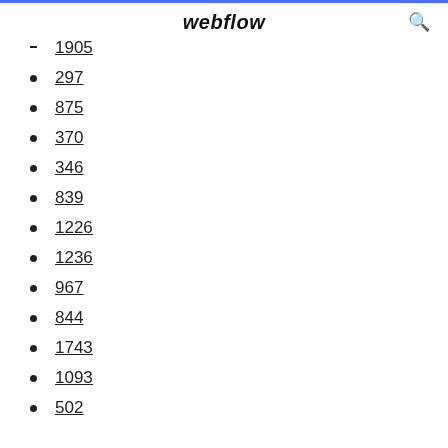webflow
1905
297
875
370
346
839
1226
1236
967
844
1743
1093
502